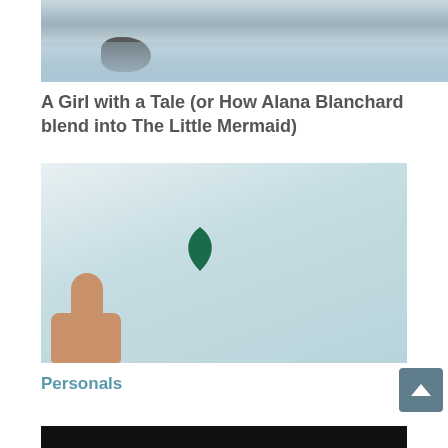[Figure (photo): Ocean/beach scene with rocks and water, partially cropped at top of page]
A Girl with a Tale (or How Alana Blanchard blend into The Little Mermaid)
[Figure (photo): A hand pointing at a small dark green leaf-shaped object against a light grey-blue wall]
Personals
[Figure (photo): Bottom edge of dark/black image, cropped]